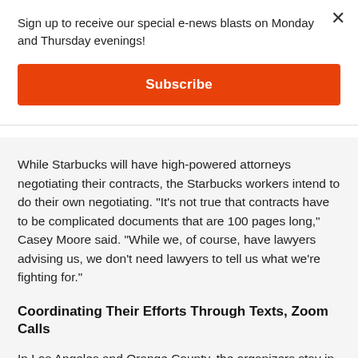Sign up to receive our special e-news blasts on Monday and Thursday evenings!
Subscribe
While Starbucks will have high-powered attorneys negotiating their contracts, the Starbucks workers intend to do their own negotiating. "It's not true that contracts have to be complicated documents that are 100 pages long," Casey Moore said. "While we, of course, have lawyers advising us, we don't need lawyers to tell us what we're fighting for."
Coordinating Their Efforts Through Texts, Zoom Calls
In Los Angeles and Orange County, the organizers stay in